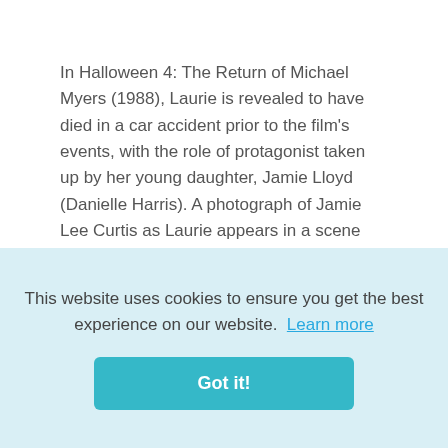[Figure (other): Social media icons: Twitter (blue bird) and Blogger (orange B) in the top right]
In Halloween 4: The Return of Michael Myers (1988), Laurie is revealed to have died in a car accident prior to the film's events, with the role of protagonist taken up by her young daughter, Jamie Lloyd (Danielle Harris). A photograph of Jamie Lee Curtis as Laurie appears in a scene where Jamie remembers her mother.
This website uses cookies to ensure you get the best experience on our website. Learn more
Got it!